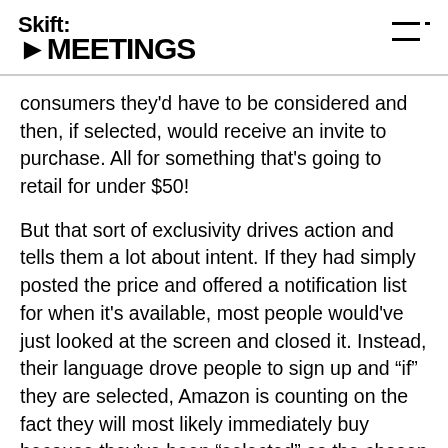Skift MEETINGS
consumers they'd have to be considered and then, if selected, would receive an invite to purchase. All for something that's going to retail for under $50!
But that sort of exclusivity drives action and tells them a lot about intent. If they had simply posted the price and offered a notification list for when it's available, most people would've just looked at the screen and closed it. Instead, their language drove people to sign up and “if” they are selected, Amazon is counting on the fact they will most likely immediately buy because they’ve been “selected” as the chosen group to be the first.